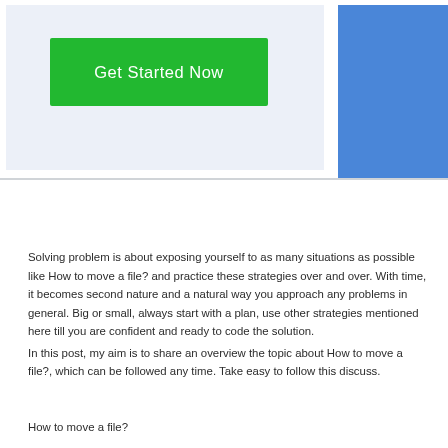[Figure (screenshot): Banner with a green 'Get Started Now' button on a light blue-grey background, and a blue rectangle on the right side]
Solving problem is about exposing yourself to as many situations as possible like How to move a file? and practice these strategies over and over. With time, it becomes second nature and a natural way you approach any problems in general. Big or small, always start with a plan, use other strategies mentioned here till you are confident and ready to code the solution.
In this post, my aim is to share an overview the topic about How to move a file?, which can be followed any time. Take easy to follow this discuss.
How to move a file?